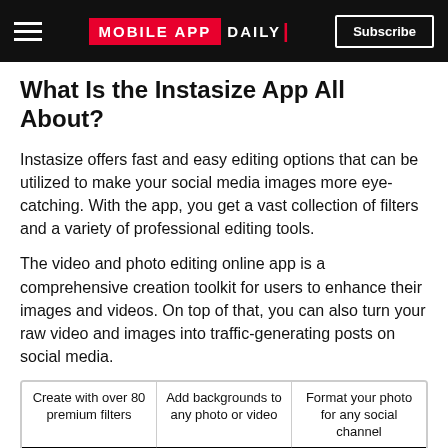MOBILE APP DAILY | Subscribe
What Is the Instasize App All About?
Instasize offers fast and easy editing options that can be utilized to make your social media images more eye-catching. With the app, you get a vast collection of filters and a variety of professional editing tools.
The video and photo editing online app is a comprehensive creation toolkit for users to enhance their images and videos. On top of that, you can also turn your raw video and images into traffic-generating posts on social media.
[Figure (infographic): Three phone screenshots in a bordered box, each with a caption: 'Create with over 80 premium filters', 'Add backgrounds to any photo or video', 'Format your photo for any social channel'. Below captions are phone mockup screens showing app content.]